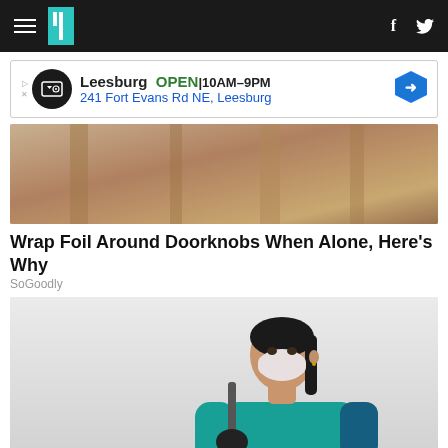HuffPost navigation bar with hamburger menu, logo, facebook and twitter icons
[Figure (other): Advertisement banner: Leesburg OPEN 10AM-9PM, 241 Fort Evans Rd NE, Leesburg]
[Figure (photo): Top portion of an article image - beige/tan interior surface]
Wrap Foil Around Doorknobs When Alone, Here's Why
SoGoodly
[Figure (photo): A woman wearing a green scrubs uniform and white face mask, holding a mop with black gloves, posed against a white wall - cleaning service worker]
Here's How Much Ashburn Maids Charge to Clean a